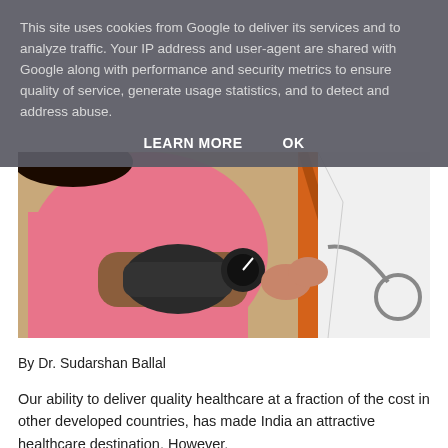This site uses cookies from Google to deliver its services and to analyze traffic. Your IP address and user-agent are shared with Google along with performance and security metrics to ensure quality of service, generate usage statistics, and to detect and address abuse.
LEARN MORE    OK
[Figure (photo): A doctor in a white coat with a stethoscope takes a blood pressure reading on a patient wearing a pink garment, with colorful fabric visible in the background.]
By Dr. Sudarshan Ballal
Our ability to deliver quality healthcare at a fraction of the cost in other developed countries, has made India an attractive healthcare destination. However,